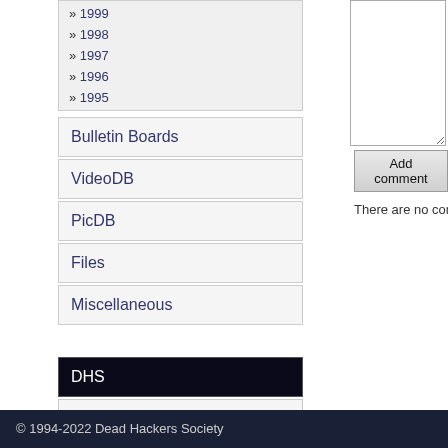» 1999
» 1998
» 1997
» 1996
» 1995
Bulletin Boards
VideoDB
PicDB
Files
Miscellaneous
DHS
DHS Atari demos
DHS Miscellaneous
There are no comments, add o
© 1994-2022 Dead Hackers Society